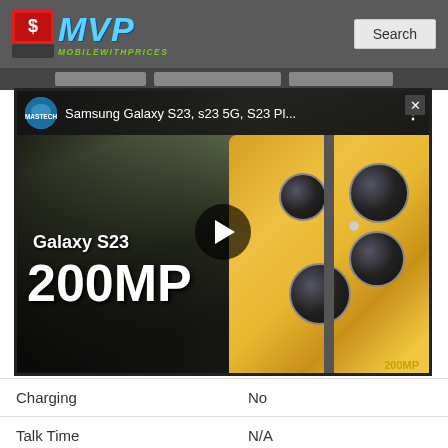MVP MobileWithPrices
[Figure (screenshot): YouTube-style video thumbnail for Samsung Galaxy S23, s23 5G, S23 Pl... showing gold smartphone with 200MP camera and Galaxy S23 200MP text overlay. Channel: MASTECH. Play button in center.]
| Charging | No |
| Talk Time | N/A |
| Stand-by | N/A |
| COMMONS |  |